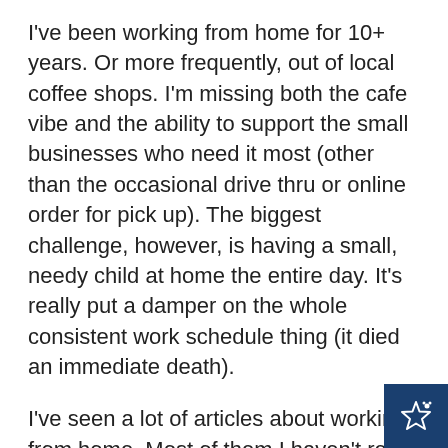I've been working from home for 10+ years. Or more frequently, out of local coffee shops. I'm missing both the cafe vibe and the ability to support the small businesses who need it most (other than the occasional drive thru or online order for pick up). The biggest challenge, however, is having a small, needy child at home the entire day. It's really put a damper on the whole consistent work schedule thing (it died an immediate death).
I've seen a lot of articles about working from home. Most of them I haven't read. The couple I skimmed were mostly fluff (one exception). So I'm just going to type a quick list, as things come to mind, after having done the work from home thing for years.